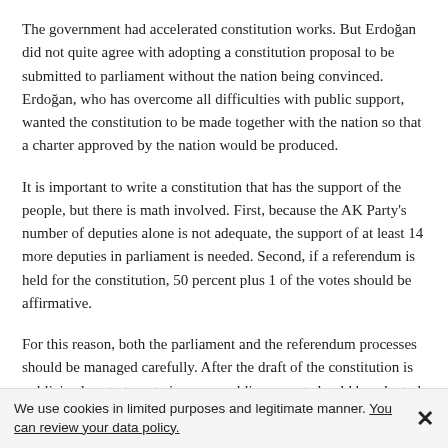The government had accelerated constitution works. But Erdoğan did not quite agree with adopting a constitution proposal to be submitted to parliament without the nation being convinced. Erdoğan, who has overcome all difficulties with public support, wanted the constitution to be made together with the nation so that a charter approved by the nation would be produced.
It is important to write a constitution that has the support of the people, but there is math involved. First, because the AK Party's number of deputies alone is not adequate, the support of at least 14 more deputies in parliament is needed. Second, if a referendum is held for the constitution, 50 percent plus 1 of the votes should be affirmative.
For this reason, both the parliament and the referendum processes should be managed carefully. After the draft of the constitution is publicized, a strategy to increase public support should be adopted. In other words, “the light at the end of the tunnel should be seen.” It has been decided that, after all these assessments are done, the constitution should be left to mature. This is like leaving the tea to steep.
We use cookies in limited purposes and legitimate manner. You can review your data policy.